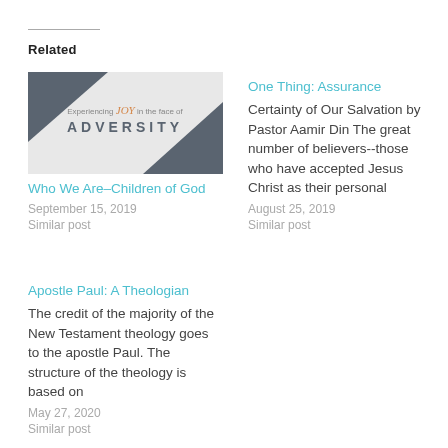Related
[Figure (illustration): Blog post thumbnail image with dark gray geometric triangle shapes and text 'Experiencing JOY in the face of ADVERSITY' on a light gray background]
Who We Are–Children of God
September 15, 2019
Similar post
One Thing: Assurance
Certainty of Our Salvation by Pastor Aamir Din The great number of believers--those who have accepted Jesus Christ as their personal
August 25, 2019
Similar post
Apostle Paul: A Theologian
The credit of the majority of the New Testament theology goes to the apostle Paul. The structure of the theology is based on
May 27, 2020
Similar post